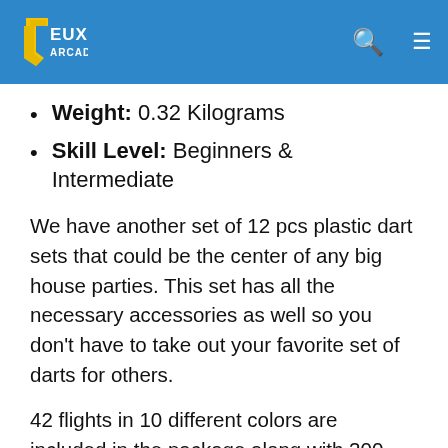Jeux Arcade
Weight: 0.32 Kilograms
Skill Level: Beginners & Intermediate
We have another set of 12 pcs plastic dart sets that could be the center of any big house parties. This set has all the necessary accessories as well so you don't have to take out your favorite set of darts for others.
42 flights in 10 different colors are included in the package along with 200 extra dart tips, 20 extra rubber rings, and storage bags for your Electronic dartboard